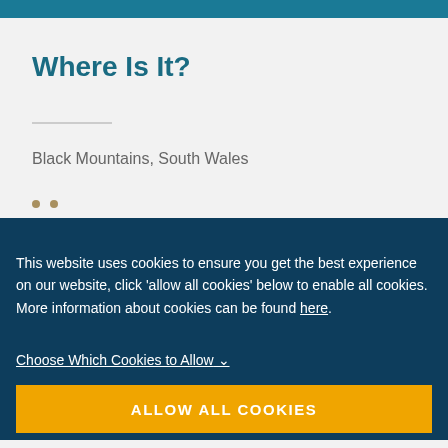Where Is It?
Black Mountains, South Wales
This website uses cookies to ensure you get the best experience on our website, click 'allow all cookies' below to enable all cookies. More information about cookies can be found here.
Choose Which Cookies to Allow ∨
ALLOW ALL COOKIES